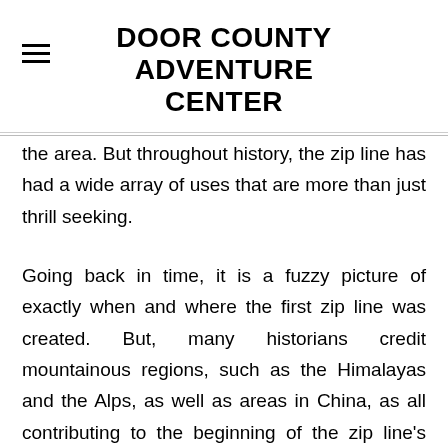DOOR COUNTY ADVENTURE CENTER
the area. But throughout history, the zip line has had a wide array of uses that are more than just thrill seeking.
Going back in time, it is a fuzzy picture of exactly when and where the first zip line was created. But, many historians credit mountainous regions, such as the Himalayas and the Alps, as well as areas in China, as all contributing to the beginning of the zip line’s history. Back then, zip lines were used less for entertainment and thrill seeking and more for practicality. One way a zipline was popularly used was